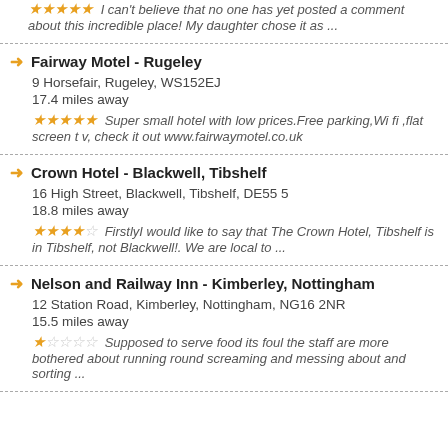★★★★★ I can't believe that no one has yet posted a comment about this incredible place! My daughter chose it as ...
Fairway Motel - Rugeley
9 Horsefair, Rugeley, WS152EJ
17.4 miles away
★★★★★ Super small hotel with low prices.Free parking,Wi fi ,flat screen t v, check it out www.fairwaymotel.co.uk
Crown Hotel - Blackwell, Tibshelf
16 High Street, Blackwell, Tibshelf, DE55 5
18.8 miles away
★★★★☆ FirstlyI would like to say that The Crown Hotel, Tibshelf is in Tibshelf, not Blackwell!. We are local to ...
Nelson and Railway Inn - Kimberley, Nottingham
12 Station Road, Kimberley, Nottingham, NG16 2NR
15.5 miles away
★☆☆☆☆ Supposed to serve food its foul the staff are more bothered about running round screaming and messing about and sorting ...